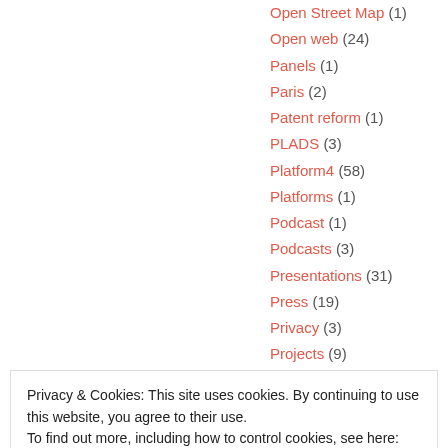Open Street Map (1)
Open web (24)
Panels (1)
Paris (2)
Patent reform (1)
PLADS (3)
Platform4 (58)
Platforms (1)
Podcast (1)
Podcasts (3)
Presentations (31)
Press (19)
Privacy (3)
Projects (9)
Publishing (4)
Science Friction (9)
Screenings (3)
Privacy & Cookies: This site uses cookies. By continuing to use this website, you agree to their use.
To find out more, including how to control cookies, see here: Cookie Policy
Close and accept
Technology (64)